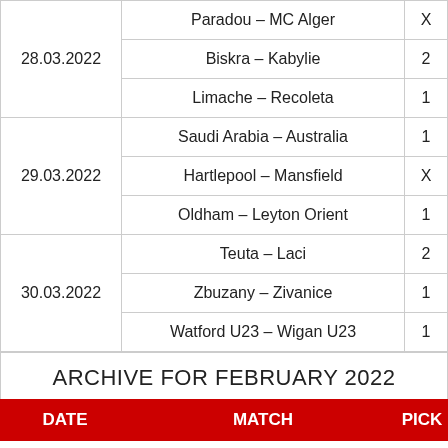| DATE | MATCH | PICK |
| --- | --- | --- |
| 28.03.2022 | Paradou – MC Alger | X |
| 28.03.2022 | Biskra – Kabylie | 2 |
| 28.03.2022 | Limache – Recoleta | 1 |
| 29.03.2022 | Saudi Arabia – Australia | 1 |
| 29.03.2022 | Hartlepool – Mansfield | X |
| 29.03.2022 | Oldham – Leyton Orient | 1 |
| 30.03.2022 | Teuta – Laci | 2 |
| 30.03.2022 | Zbuzany – Zivanice | 1 |
| 30.03.2022 | Watford U23 – Wigan U23 | 1 |
ARCHIVE FOR FEBRUARY 2022
| DATE | MATCH | PICK |
| --- | --- | --- |